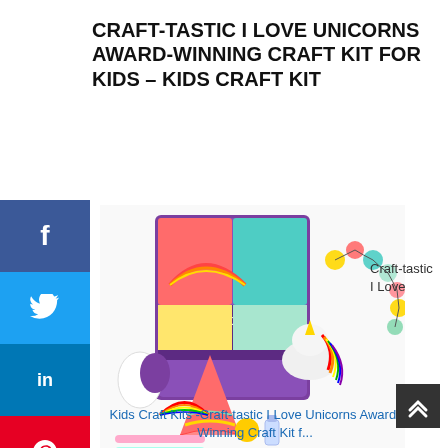CRAFT-TASTIC I LOVE UNICORNS AWARD-WINNING CRAFT KIT FOR KIDS – KIDS CRAFT KIT
[Figure (photo): Craft-tastic I Love Unicorns craft kit product photo showing the box and craft items including a unicorn plush, rainbow garland, felt pieces, bracelets, and a large rainbow tassel.]
Craft-tastic I Love
Kids Craft Kits -Craft-tastic I Love Unicorns Award-Winning Craft Kit f...